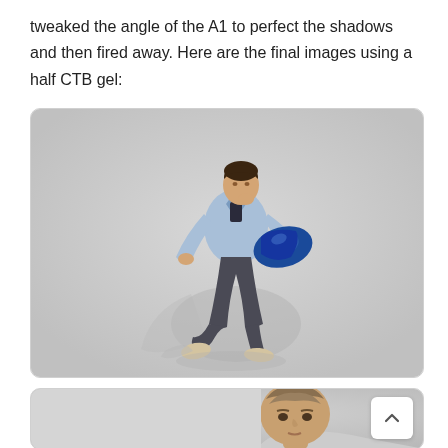tweaked the angle of the A1 to perfect the shadows and then fired away. Here are the final images using a half CTB gel:
[Figure (photo): A man in a light blue jacket and dark trousers jumping in mid-air against a white/light grey background, carrying a shiny blue duffel bag. His shadow is cast on the background. Studio fashion photography.]
[Figure (photo): Close-up of a young man with styled hair against a light grey background, partially cropped at bottom of page.]